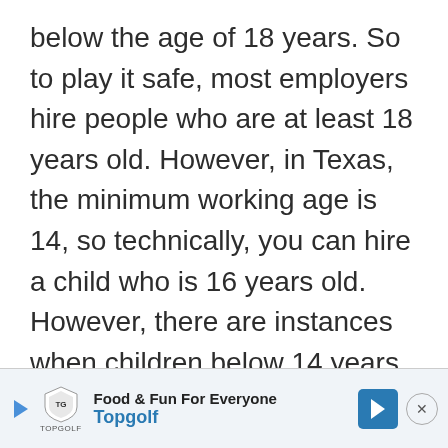below the age of 18 years. So to play it safe, most employers hire people who are at least 18 years old. However, in Texas, the minimum working age is 14, so technically, you can hire a child who is 16 years old. However, there are instances when children below 14 years old may work. Here are some cases when they are allowed to work:
[Figure (other): Advertisement banner for Topgolf: 'Food & Fun For Everyone' with Topgolf logo, play button, blue arrow navigation icon, and close button]